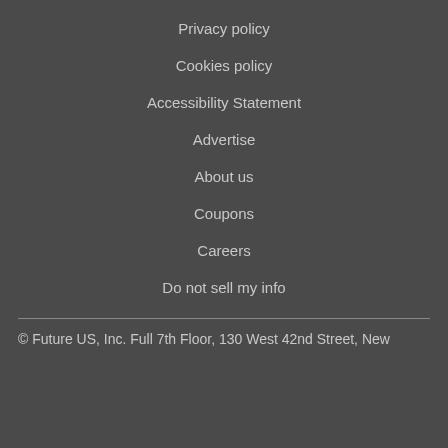Privacy policy
Cookies policy
Accessibility Statement
Advertise
About us
Coupons
Careers
Do not sell my info
© Future US, Inc. Full 7th Floor, 130 West 42nd Street, New